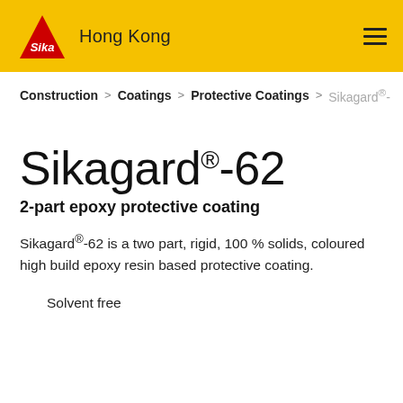Sika Hong Kong
Construction > Coatings > Protective Coatings > Sikagard®-
Sikagard®-62
2-part epoxy protective coating
Sikagard®-62 is a two part, rigid, 100 % solids, coloured high build epoxy resin based protective coating.
Solvent free